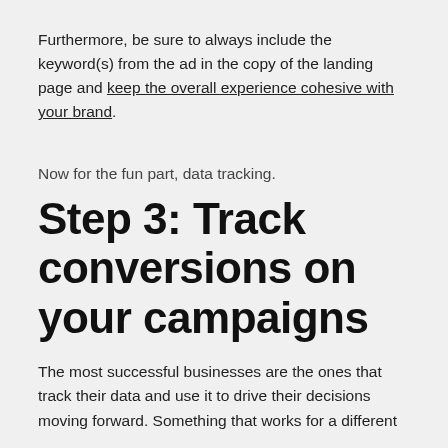Furthermore, be sure to always include the keyword(s) from the ad in the copy of the landing page and keep the overall experience cohesive with your brand.
Now for the fun part, data tracking.
Step 3: Track conversions on your campaigns
The most successful businesses are the ones that track their data and use it to drive their decisions moving forward. Something that works for a different